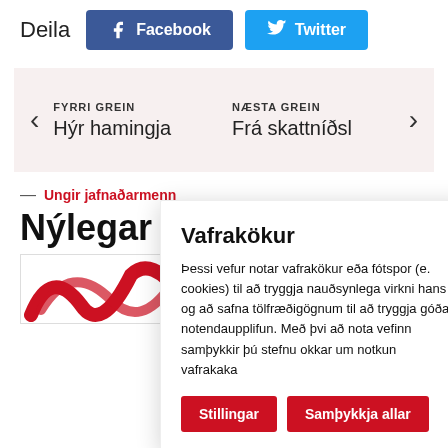Deila
[Figure (screenshot): Facebook share button (blue)]
[Figure (screenshot): Twitter share button (light blue)]
FYRRI GREIN
Hýr hamingja
NÆSTA GREIN
Frá skattníðsl
Vafrakökur
Þessi vefur notar vafrakökur eða fótspor (e. cookies) til að tryggja nauðsynlega virkni hans og að safna tölfræðigögnum til að tryggja góða notendaupplifun. Með þvi að nota vefinn samþykkir þú stefnu okkar um notkun vafrakaka
Stillingar
Samþykkja allar
— Ungir jafnaðarmenn
Nýlegar